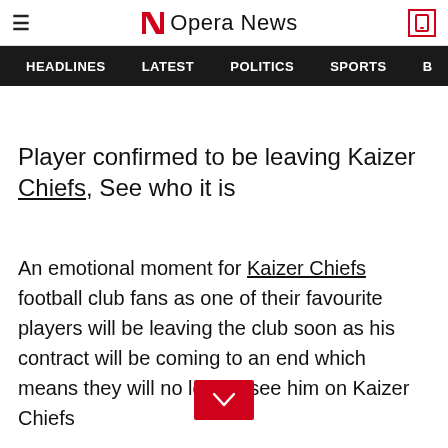Opera News
HEADLINES   LATEST   POLITICS   SPORTS
Player confirmed to be leaving Kaizer Chiefs, See who it is
An emotional moment for Kaizer Chiefs football club fans as one of their favourite players will be leaving the club soon as his contract will be coming to an end which means they will no longer see him on Kaizer Chiefs